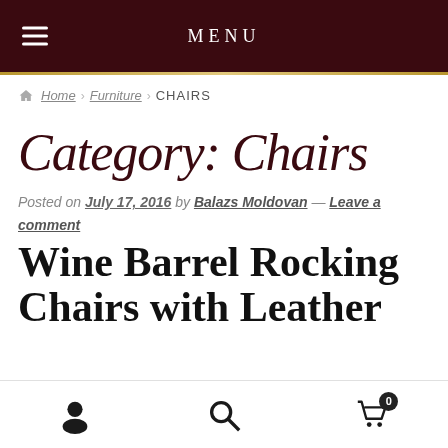MENU
Home › Furniture › CHAIRS
Category: Chairs
Posted on July 17, 2016 by Balazs Moldovan — Leave a comment
Wine Barrel Rocking Chairs with Leather